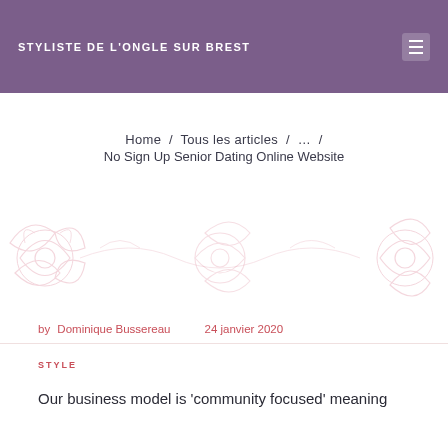STYLISTE DE L'ONGLE SUR BREST
Home / Tous les articles / … / No Sign Up Senior Dating Online Website
[Figure (illustration): Decorative floral/scroll pattern in light pink/rose on white background]
by Dominique Bussereau   24 janvier 2020
STYLE
Our business model is 'community focused' meaning